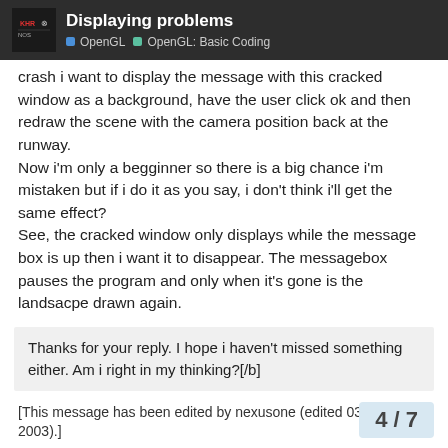Displaying problems | OpenGL | OpenGL: Basic Coding
crash i want to display the message with this cracked window as a background, have the user click ok and then redraw the scene with the camera position back at the runway.
Now i'm only a begginner so there is a big chance i'm mistaken but if i do it as you say, i don't think i'll get the same effect?
See, the cracked window only displays while the message box is up then i want it to disappear. The messagebox pauses the program and only when it's gone is the landsacpe drawn again.
Thanks for your reply. I hope i haven't missed something either. Am i right in my thinking?[/b]
[This message has been edited by nexusone (edited 03-27-2003).]
4 / 7